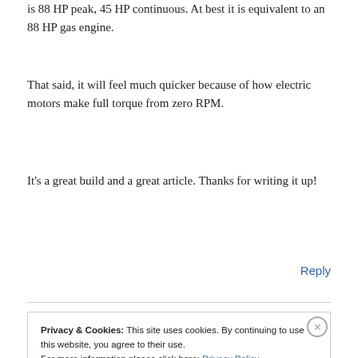is 88 HP peak, 45 HP continuous. At best it is equivalent to an 88 HP gas engine.
That said, it will feel much quicker because of how electric motors make full torque from zero RPM.
It's a great build and a great article. Thanks for writing it up!
Reply
Privacy & Cookies: This site uses cookies. By continuing to use this website, you agree to their use.
For more information please click here: Privacy Policy
Close and accept